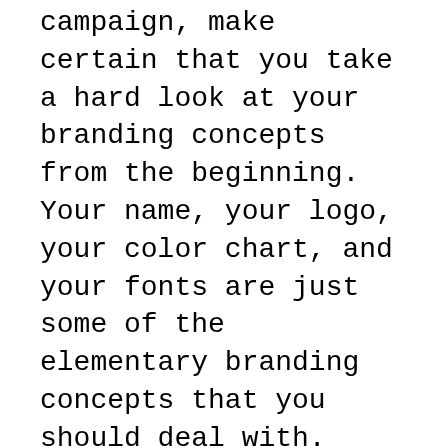campaign, make certain that you take a hard look at your branding concepts from the beginning. Your name, your logo, your color chart, and your fonts are just some of the elementary branding concepts that you should deal with.
Name– Could your name include a keyword for SEO marketing purposes? If you are a plumber, instead of Jones Plumber, why not “Cincinnati’s Best Plumbing” or “High Quality